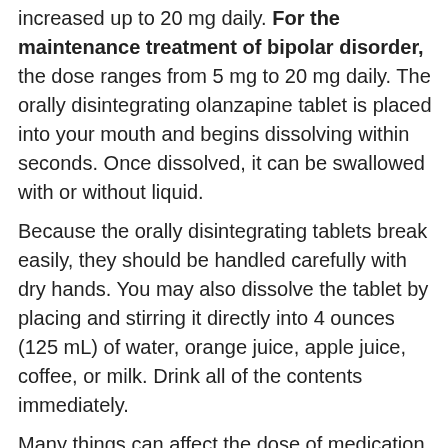increased up to 20 mg daily. For the maintenance treatment of bipolar disorder, the dose ranges from 5 mg to 20 mg daily. The orally disintegrating olanzapine tablet is placed into your mouth and begins dissolving within seconds. Once dissolved, it can be swallowed with or without liquid.
Because the orally disintegrating tablets break easily, they should be handled carefully with dry hands. You may also dissolve the tablet by placing and stirring it directly into 4 ounces (125 mL) of water, orange juice, apple juice, coffee, or milk. Drink all of the contents immediately.
Many things can affect the dose of medication that a person needs, such as body weight, other medical conditions, and other medications. If your doctor has recommended a dose different from the ones listed here, do not change the way that you are using the medication without consulting your doctor.
For this medication to be effective, it is very important to use